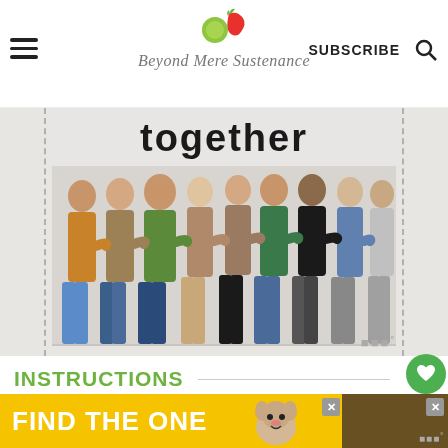Beyond Mere Sustenance — SUBSCRIBE
[Figure (photo): Group of diverse people standing with arms around each other, viewed from behind, in front of a white wall with text 'together' visible above them. Website screenshot from Beyond Mere Sustenance food blog.]
INSTRUCTIONS
1. Add all ingredients to a blender. Pulse
[Figure (infographic): Yellow advertisement banner reading FIND THE ONE with a dog image and close button]